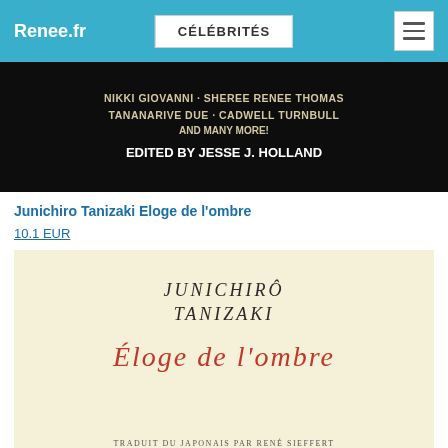Renee.fr | CÉLÉBRITÉS
[Figure (photo): Dark book cover showing text: NIKKI GIOVANNI · SHEREE RENEE THOMAS / TANANARIVE DUE · CADWELL TURNBULL / AND MANY MORE! / EDITED BY JESSE J. HOLLAND]
Junichiro Tanizaki Eloge de l'ombre
10.1 EUR
[Figure (photo): Book cover of 'Éloge de l'ombre' by Junichirô Tanizaki. Cream/yellow background with italic serif author name, large red italic title, and subtitle in small caps: TRADUIT DU JAPONAIS PAR RENÉ SIEFFERT]